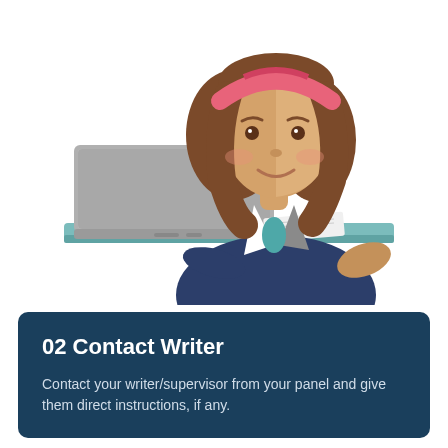[Figure (illustration): Flat vector illustration of a young woman with brown hair and a pink headband, wearing a dark blazer, sitting at a teal desk working on a grey laptop computer.]
02 Contact Writer
Contact your writer/supervisor from your panel and give them direct instructions, if any.